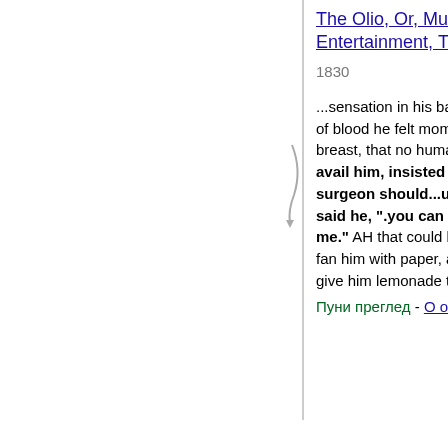The Olio, Or, Museum of Entertainment, Том 5
1830
...sensation in his back, and the gush of blood he felt momentarily in his breast, that no human care could avail him, insisted that the surgeon should...useful. "For," said he, ".you can do nothing for me." AH that could be done was to fan him with paper, and frequently to give him lemonade to alleviate his...
Пуни преглед - О овој књизи